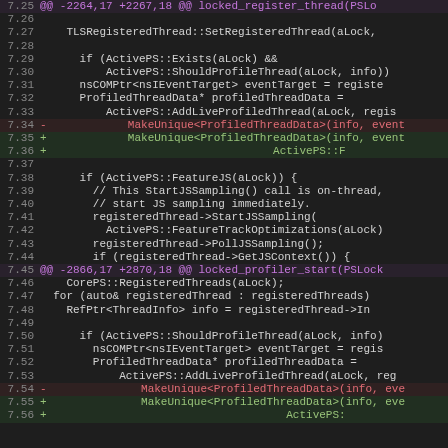[Figure (screenshot): Code diff view showing changes to locked_register_thread and locked_profiler_start functions, with line numbers, diff markers, and syntax highlighting in dark theme. Lines 7.25-7.56 are visible.]